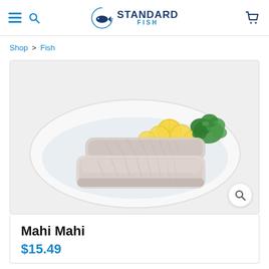Standard Fish — navigation header with hamburger menu, search icon, logo, and cart icon
Shop > Fish
[Figure (photo): Two raw mahi mahi fish fillets on a white oval plate with crushed ice, garnished with lemon slices and fresh parsley, on a white background. A magnifying glass zoom icon appears in the lower right corner of the image.]
Mahi Mahi
$15.49